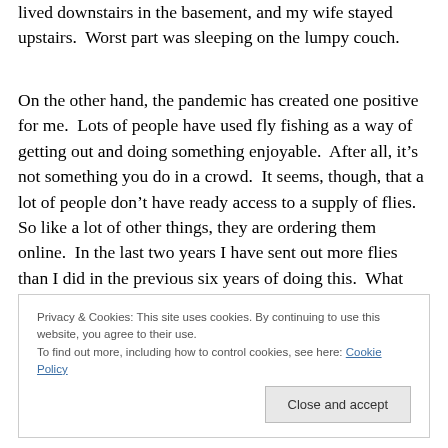lived downstairs in the basement, and my wife stayed upstairs.  Worst part was sleeping on the lumpy couch.
On the other hand, the pandemic has created one positive for me.  Lots of people have used fly fishing as a way of getting out and doing something enjoyable.  After all, it's not something you do in a crowd.  It seems, though, that a lot of people don't have ready access to a supply of flies.  So like a lot of other things, they are ordering them online.  In the last two years I have sent out more flies than I did in the previous six years of doing this.  What hurts is the fact that I have spent more time tying flies than I have fishing.
Privacy & Cookies: This site uses cookies. By continuing to use this website, you agree to their use.
To find out more, including how to control cookies, see here: Cookie Policy